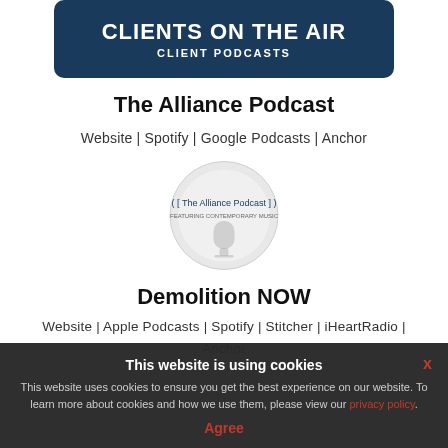[Figure (illustration): Dark blue banner with text CLIENTS ON THE AIR and subtitle CLIENT PODCASTS]
The Alliance Podcast
Website | Spotify | Google Podcasts | Anchor
[Figure (logo): Circular logo for The Alliance Podcast on light grey background]
Demolition NOW
Website | Apple Podcasts | Spotify | Stitcher | iHeartRadio | Anchor
This website is using cookies
This website uses cookies to ensure you get the best experience on our website. To learn more about cookies and how we use them, please view our privacy policy.
Agree